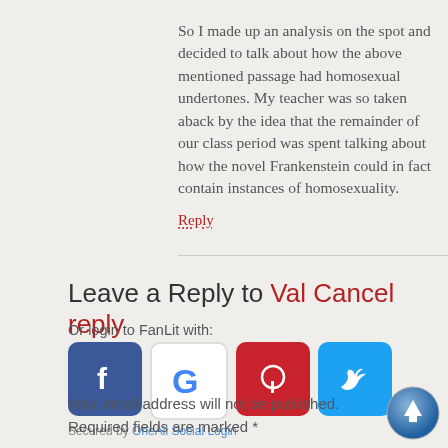So I made up an analysis on the spot and decided to talk about how the above mentioned passage had homosexual undertones. My teacher was so taken aback by the idea that the remainder of our class period was spent talking about how the novel Frankenstein could in fact contain instances of homosexuality.
Reply
Leave a Reply to Val Cancel reply
Or login to FanLit with:
[Figure (logo): Social login icons: Facebook, Google, Pinterest, Twitter]
Secured by OneAll Social Login
Your email address will not be published. Required fields are marked *